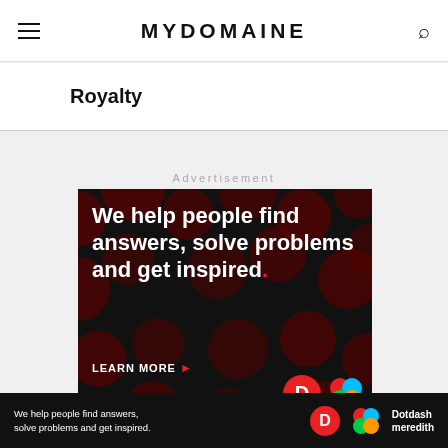MYDOMAINE
Royalty
Advertisement
[Figure (screenshot): Advertisement banner for Dotdash Meredith. Black background with dark red polka dot pattern. White bold text reads: We help people find answers, solve problems and get inspired. with a red period. Below: LEARN MORE with a red arrow. Bottom right shows Dotdash and Meredith logos.]
[Figure (screenshot): Bottom sticky ad bar for Dotdash Meredith with white text: We help people find answers, solve problems and get inspired. Dotdash and Meredith logos on right.]